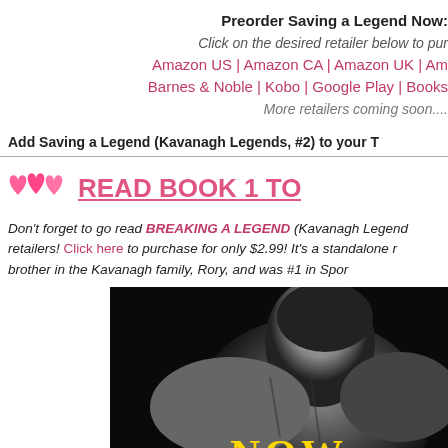Preorder Saving a Legend Now:
Click on the desired retailer below to purchase:
Amazon US | Amazon CA | Amazon UK | Am...
Barnes & Noble | Kobo | Google Play | Books...
More retailers coming soon....
Add Saving a Legend (Kavanagh Legends, #2) to your T...
READ BOOK 1 TODAY
Don't forget to go read BREAKING A LEGEND (Kavanagh Legends...) retailers! Click here to purchase for only $2.99! It's a standalone r... brother in the Kavanagh family, Rory, and was #1 in Spor...
[Figure (photo): Black and white photo of a muscular man's back/neck, with 'NOW' text in yellow at the bottom — book cover for Breaking a Legend]